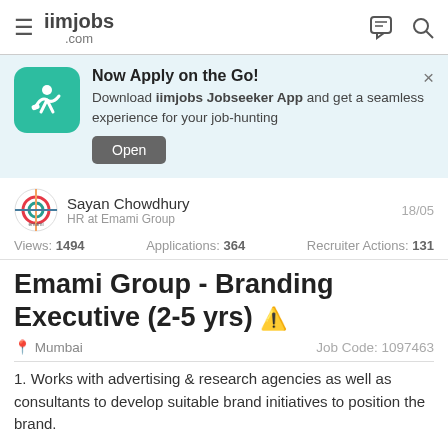iimjobs.com
[Figure (screenshot): App promotion banner: teal icon with running person, 'Now Apply on the Go!' heading, 'Download iimjobs Jobseeker App and get a seamless experience for your job-hunting', Open button]
Sayan Chowdhury
HR at Emami Group
18/05
Views: 1494   Applications: 364   Recruiter Actions: 131
Emami Group - Branding Executive (2-5 yrs)
Mumbai   Job Code: 1097463
1. Works with advertising & research agencies as well as consultants to develop suitable brand initiatives to position the brand.
2. Executes ATL & BTL plans to deliver the required value